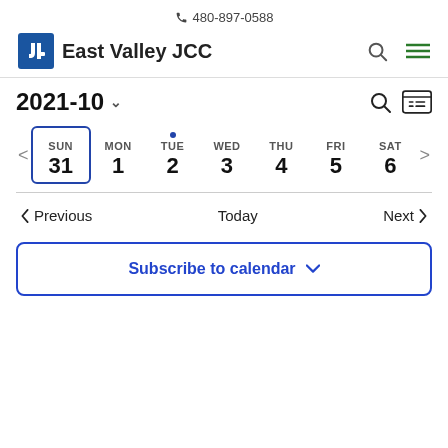📞 480-897-0588
East Valley JCC
2021-10
SUN 31 | MON 1 | TUE 2 | WED 3 | THU 4 | FRI 5 | SAT 6
< Previous   Today   Next >
Subscribe to calendar ˅